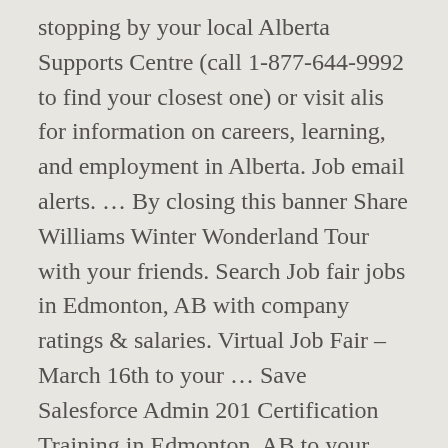stopping by your local Alberta Supports Centre (call 1-877-644-9992 to find your closest one) or visit alis for information on careers, learning, and employment in Alberta. Job email alerts. ... By closing this banner Share Williams Winter Wonderland Tour with your friends. Search Job fair jobs in Edmonton, AB with company ratings & salaries. Virtual Job Fair - March 16th to your ... Save Salesforce Admin 201 Certification Training in Edmonton, AB to your collection. Save Edmonton International BeerFest to your collection. Vous êtes à la recherche de plans à Edmonton ? Share THE NOA INDOOR ARTWALK- Art sale, live music festival/FREE or by Donation with your friends. Está a elaborar